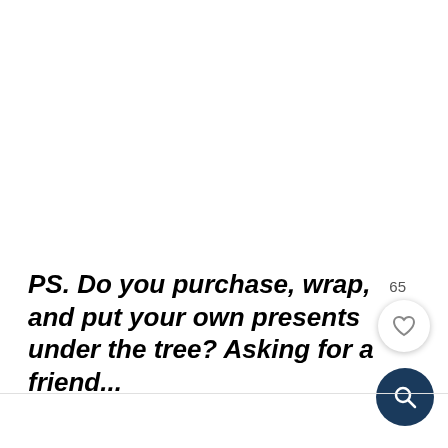PS. Do you purchase, wrap, and put your own presents under the tree? Asking for a friend...